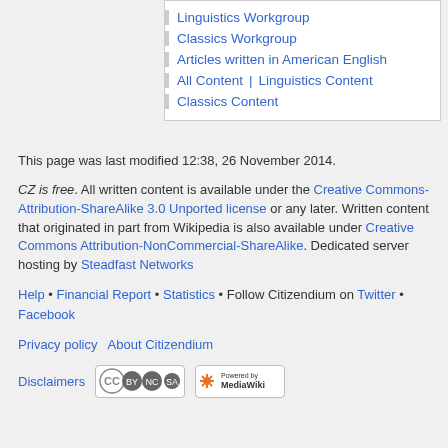Linguistics Workgroup
Classics Workgroup
Articles written in American English
All Content | Linguistics Content
Classics Content
This page was last modified 12:38, 26 November 2014.
CZ is free. All written content is available under the Creative Commons-Attribution-ShareAlike 3.0 Unported license or any later. Written content that originated in part from Wikipedia is also available under Creative Commons Attribution-NonCommercial-ShareAlike. Dedicated server hosting by Steadfast Networks
Help • Financial Report • Statistics • Follow Citizendium on Twitter • Facebook
Privacy policy   About Citizendium
Disclaimers